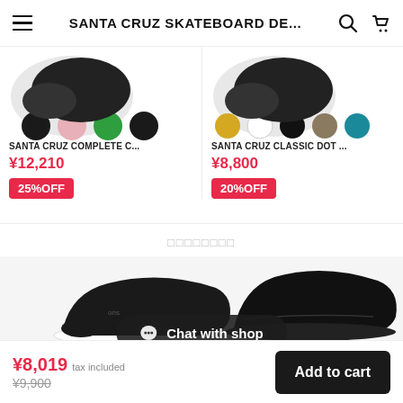SANTA CRUZ SKATEBOARD DE...
[Figure (screenshot): Product card showing color swatches for Santa Cruz Complete C... skateboard]
SANTA CRUZ COMPLETE C...
¥12,210
25%OFF
[Figure (screenshot): Product card showing color swatches for Santa Cruz Classic Dot... skateboard]
SANTA CRUZ CLASSIC DOT ...
¥8,800
20%OFF
□□□□□□□□
[Figure (photo): Two black slip-on shoes (Vans style) on white/light background — one showing from the side with white sole, one all-black]
Chat with shop
¥8,019 tax included
¥9,900
Add to cart